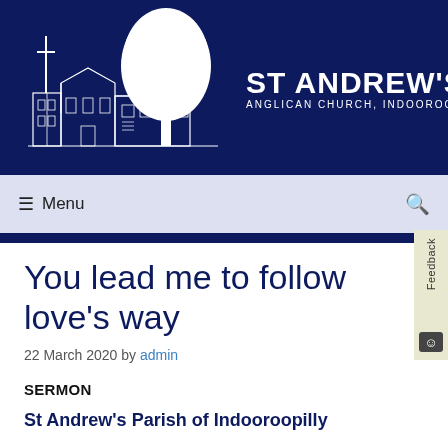[Figure (logo): St Andrew's Anglican Church Indooroopilly logo with church building illustration and text on dark navy background]
≡ Menu | search icon
You lead me to follow love's way
22 March 2020 by admin
SERMON
St Andrew's Parish of Indooroopilly